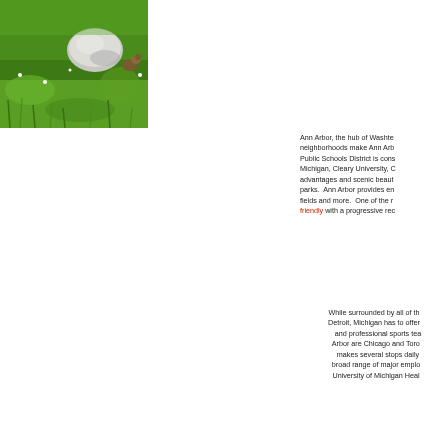[Figure (photo): Outdoor photo showing green grass with a large white/grey rock and what appears to be a squirrel or small animal near it]
Ann Arbor, the hub of Washte... neighborhoods make Ann Arb... Public Schools District is cons... Michigan, Cleary University, C... advantages and scenic beaut... parks. Ann Arbor provides en... fields and more. One of the r... friendly with a progressive rec...
While surrounded by all of th... Detroit, Michigan has to offer... and professional sports tea... Arbor are Chicago and Toro... makes several stops daily... broad range of major emplo... University of Michigan Heal...